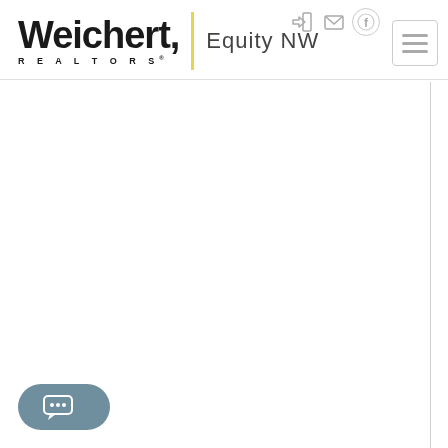[Figure (logo): Weichert Realtors Equity NW logo with yellow vertical bar divider]
[Figure (screenshot): Navigation icons: login, email, Facebook circle in top right header area]
[Figure (screenshot): Hamburger menu button (three horizontal lines) in top right corner]
[Figure (screenshot): Chat bubble button with ellipsis dots in bottom left corner, slate blue rounded rectangle]